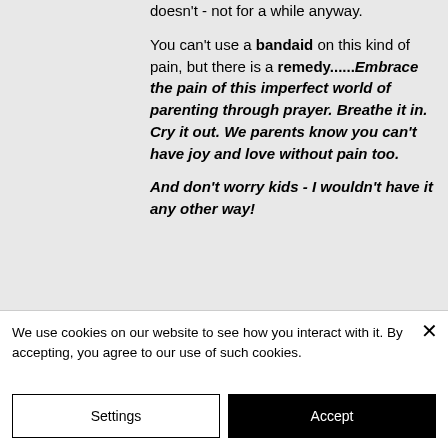doesn't - not for a while anyway. You can't use a bandaid on this kind of pain, but there is a remedy......Embrace the pain of this imperfect world of parenting through prayer. Breathe it in. Cry it out. We parents know you can't have joy and love without pain too. And don't worry kids - I wouldn't have it any other way!
We use cookies on our website to see how you interact with it. By accepting, you agree to our use of such cookies.